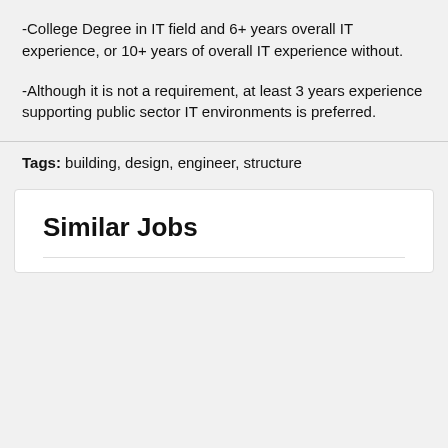-College Degree in IT field and 6+ years overall IT experience, or 10+ years of overall IT experience without.
-Although it is not a requirement, at least 3 years experience supporting public sector IT environments is preferred.
Tags: building, design, engineer, structure
Similar Jobs